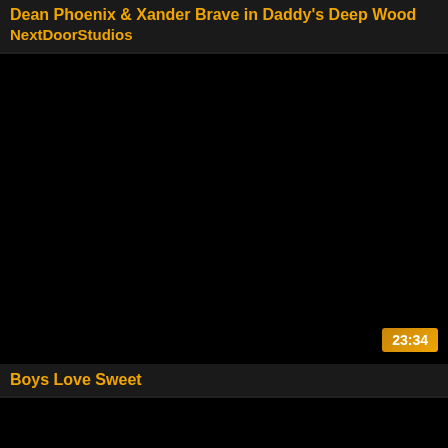Dean Phoenix & Xander Brave in Daddy's Deep Wood
NextDoorStudios
[Figure (screenshot): Black video thumbnail placeholder for 'Boys Love Sweet' with duration badge 23:34]
Boys Love Sweet
[Figure (screenshot): Black video thumbnail placeholder, partially visible at bottom of page]